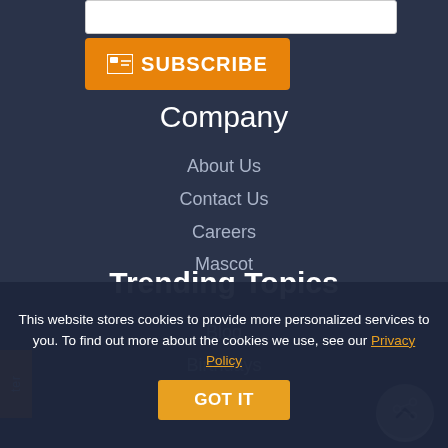[Figure (screenshot): Orange subscribe button with email icon and the text SUBSCRIBE]
Company
About Us
Contact Us
Careers
Mascot
Trending Topics
Blog
Birthdays
Hall of Fame
Legal
This website stores cookies to provide more personalized services to you. To find out more about the cookies we use, see our Privacy Policy
GOT IT